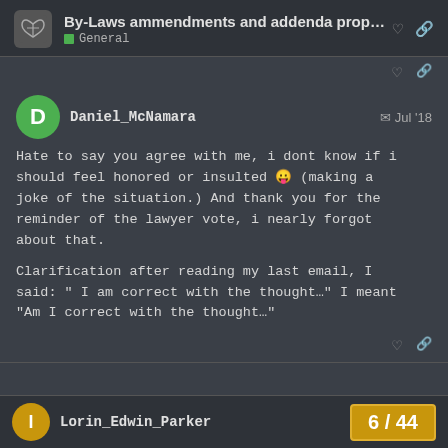By-Laws ammendments and addenda proposals 20... General
Hate to say you agree with me, i dont know if i should feel honored or insulted 😛 (making a joke of the situation.) And thank you for the reminder of the lawyer vote, i nearly forgot about that.

Clarification after reading my last email, I said: " I am correct with the thought…" I meant "Am I correct with the thought…"
Lorin_Edwin_Parker  6 / 44